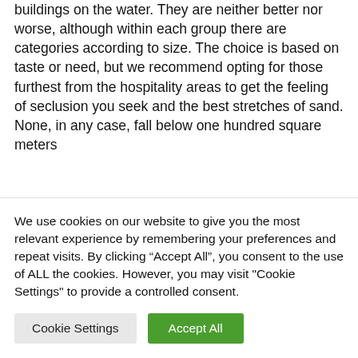buildings on the water. They are neither better nor worse, although within each group there are categories according to size. The choice is based on taste or need, but we recommend opting for those furthest from the hospitality areas to get the feeling of seclusion you seek and the best stretches of sand. None, in any case, fall below one hundred square meters
We use cookies on our website to give you the most relevant experience by remembering your preferences and repeat visits. By clicking “Accept All”, you consent to the use of ALL the cookies. However, you may visit "Cookie Settings" to provide a controlled consent.